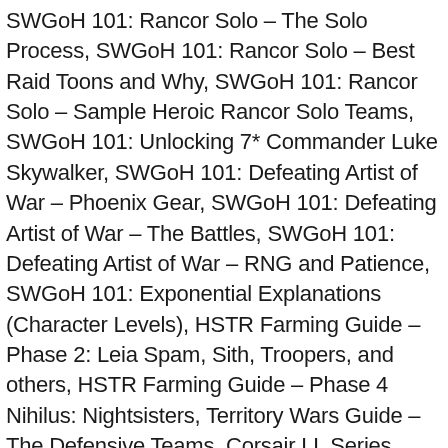SWGoH 101: Rancor Solo – The Solo Process, SWGoH 101: Rancor Solo – Best Raid Toons and Why, SWGoH 101: Rancor Solo – Sample Heroic Rancor Solo Teams, SWGoH 101: Unlocking 7* Commander Luke Skywalker, SWGoH 101: Defeating Artist of War – Phoenix Gear, SWGoH 101: Defeating Artist of War – The Battles, SWGoH 101: Defeating Artist of War – RNG and Patience, SWGoH 101: Exponential Explanations (Character Levels), HSTR Farming Guide – Phase 2: Leia Spam, Sith, Troopers, and others, HSTR Farming Guide – Phase 4 Nihilus: Nightsisters, Territory Wars Guide – The Defensive Teams, Corsair LL Series LL120 RGB 120mm Dual Light Loop RGB LED PWM Fan Single Pack, Apple Gift Card – App Store, iTunes, iPhone, iPad, Airpods, Macbook, accessories and more (Email Delivery), SWGoH: The Mandalorian's Hero's Journey Live Blog/Walkthrough, MSF Envoy: No Intentions by Scopely to Repeat 2019's Orb Opening Event, HPWU: Finding Formidable Foes in Wizarding Challenges (Fortresses), Avatar PR: 0.7.0 Update Features Several Major Changes, SteelSeries Arctis 9X Wireless